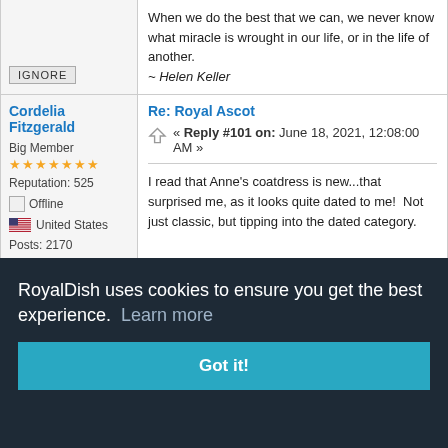When we do the best that we can, we never know what miracle is wrought in our life, or in the life of another.
~ Helen Keller
IGNORE
Cordelia Fitzgerald
Big Member
Reputation: 525
Offline
United States
Posts: 2170
Re: Royal Ascot
« Reply #101 on: June 18, 2021, 12:08:00 AM »
I read that Anne's coatdress is new...that surprised me, as it looks quite dated to me!  Not just classic, but tipping into the dated category.
RoyalDish uses cookies to ensure you get the best experience.  Learn more
Got it!